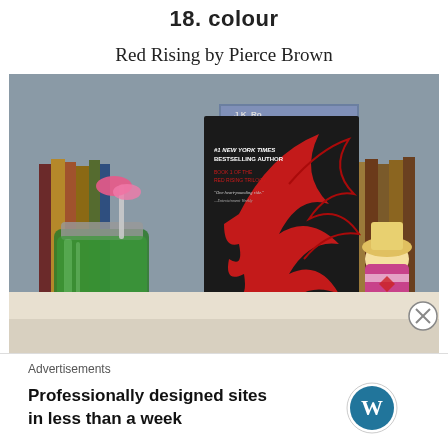18. colour
Red Rising by Pierce Brown
[Figure (photo): Photograph of the book 'Red Rising' by Pierce Brown (dark cover with red wing design) displayed on a shelf with other books, a green mason jar, and a small figurine in costume]
Advertisements
Professionally designed sites in less than a week